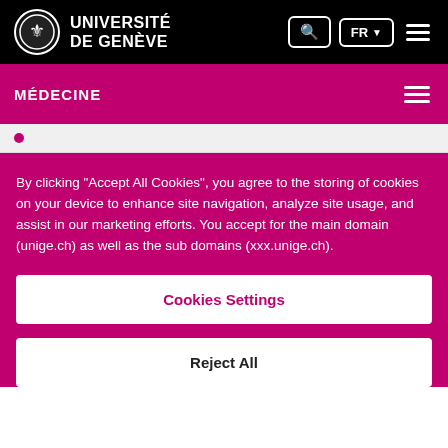UNIVERSITÉ DE GENÈVE
MÉDECINE
By clicking "Accept All Cookies", you agree to the storing of cookies on your device to enhance site navigation, analyze site usage, and assist in our marketing efforts. You accept for the main domain (unige.ch) as well as the sub domains (xxx.unige.ch).
Cookies Settings
Reject All